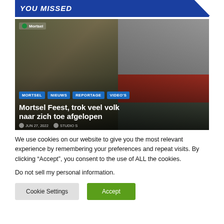YOU MISSED
[Figure (photo): Collage of photos from Mortsel Feest event: two men in bowler hats giving thumbs up, outdoor market scene, red sports car, and people at event]
MORTSEL   NIEUWS   REPORTAGE   VIDEO'S
Mortsel Feest, trok veel volk naar zich toe afgelopen
JUN 27, 2022   STUDIO S
We use cookies on our website to give you the most relevant experience by remembering your preferences and repeat visits. By clicking “Accept”, you consent to the use of ALL the cookies.
Do not sell my personal information.
Cookie Settings   Accept